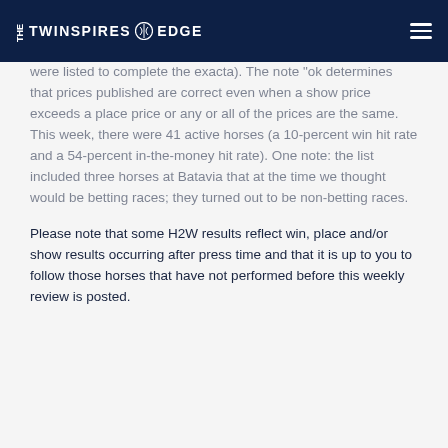THE TWINSPIRES EDGE
were listed to complete the exacta). The note "ok determines that prices published are correct even when a show price exceeds a place price or any or all of the prices are the same. This week, there were 41 active horses (a 10-percent win hit rate and a 54-percent in-the-money hit rate). One note: the list included three horses at Batavia that at the time we thought would be betting races; they turned out to be non-betting races.
Please note that some H2W results reflect win, place and/or show results occurring after press time and that it is up to you to follow those horses that have not performed before this weekly review is posted.